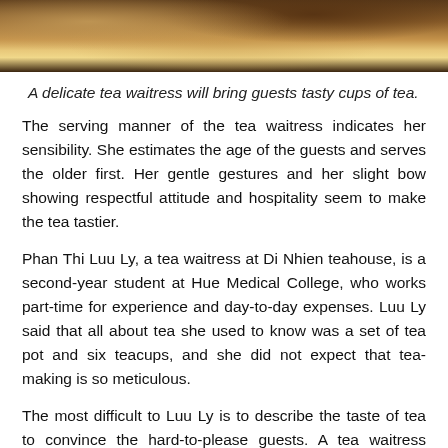[Figure (photo): Close-up photo of tea leaves or a tea-related object with warm brown tones, partially cropped at top of page.]
A delicate tea waitress will bring guests tasty cups of tea.
The serving manner of the tea waitress indicates her sensibility. She estimates the age of the guests and serves the older first. Her gentle gestures and her slight bow showing respectful attitude and hospitality seem to make the tea tastier.
Phan Thi Luu Ly, a tea waitress at Di Nhien teahouse, is a second-year student at Hue Medical College, who works part-time for experience and day-to-day expenses. Luu Ly said that all about tea she used to know was a set of tea pot and six teacups, and she did not expect that tea-making is so meticulous.
The most difficult to Luu Ly is to describe the taste of tea to convince the hard-to-please guests. A tea waitress needs to have an insight into tea and an attractive speech